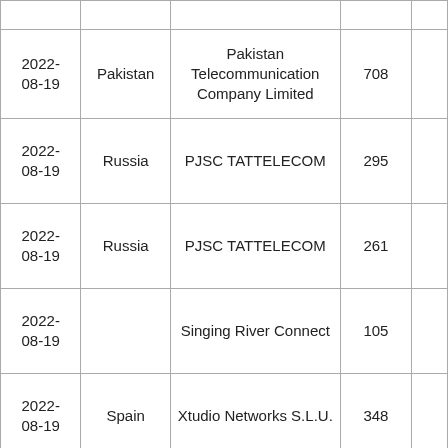| Date | Country | Organization | Count |  |
| --- | --- | --- | --- | --- |
|  |  | (partial header visible) |  |  |
| 2022-08-19 | Pakistan | Pakistan Telecommunication Company Limited | 708 |  |
| 2022-08-19 | Russia | PJSC TATTELECOM | 295 |  |
| 2022-08-19 | Russia | PJSC TATTELECOM | 261 |  |
| 2022-08-19 |  | Singing River Connect | 105 |  |
| 2022-08-19 | Spain | Xtudio Networks S.L.U. | 348 |  |
| 2022-08-19 | United Kingdom | Vodafone Limited | 194 |  |